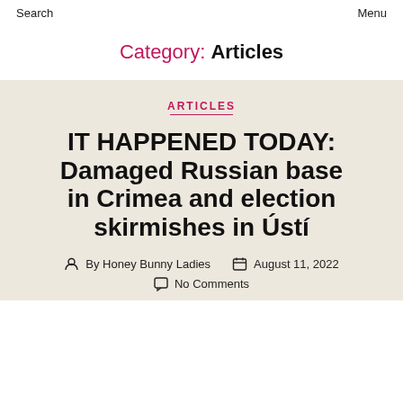Search   Menu
Category: Articles
ARTICLES
IT HAPPENED TODAY: Damaged Russian base in Crimea and election skirmishes in Ústí
By Honey Bunny Ladies   August 11, 2022
No Comments